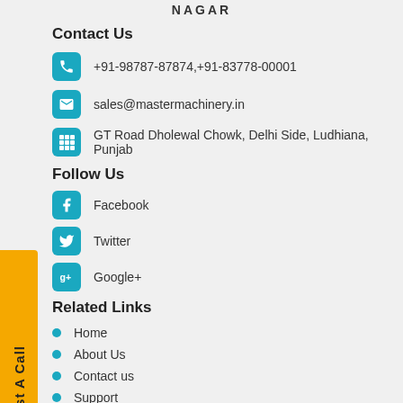NAGAR
Contact Us
+91-98787-87874,+91-83778-00001
sales@mastermachinery.in
GT Road Dholewal Chowk, Delhi Side, Ludhiana, Punjab
Follow Us
Facebook
Twitter
Google+
Related Links
Home
About Us
Contact us
Support